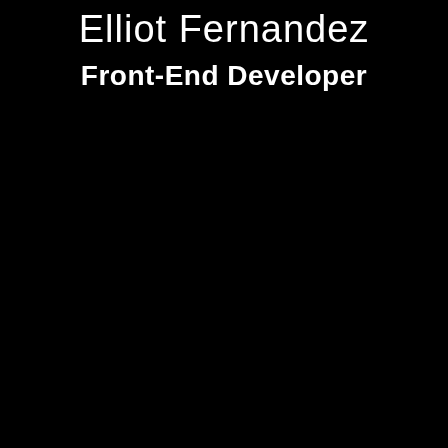Elliot Fernandez
Front-End Developer